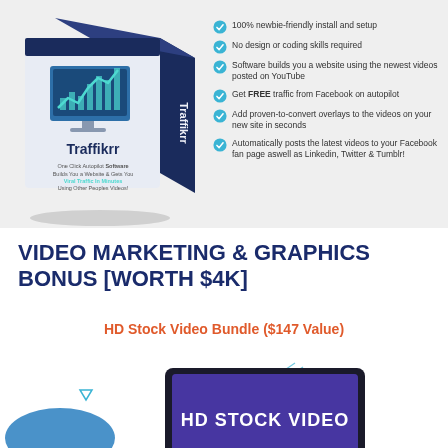[Figure (illustration): Traffikrr software product box with monitor/chart graphic. Blue and white box design. Text reads: Traffikrr, One Click Autopilot Software Builds You a Website & Gets You Viral Traffic In Minutes Using Other Peoples Videos!]
100% newbie-friendly install and setup
No design or coding skills required
Software builds you a website using the newest videos posted on YouTube
Get FREE traffic from Facebook on autopilot
Add proven-to-convert overlays to the videos on your new site in seconds
Automatically posts the latest videos to your Facebook fan page aswell as Linkedin, Twitter & Tumblr!
VIDEO MARKETING & GRAPHICS BONUS [WORTH $4K]
HD Stock Video Bundle ($147 Value)
[Figure (screenshot): HD Stock Video bundle product preview with dark laptop/screen showing 'HD STOCK VIDEO' text on purple/blue gradient background. Decorative triangles and blue shapes around it.]